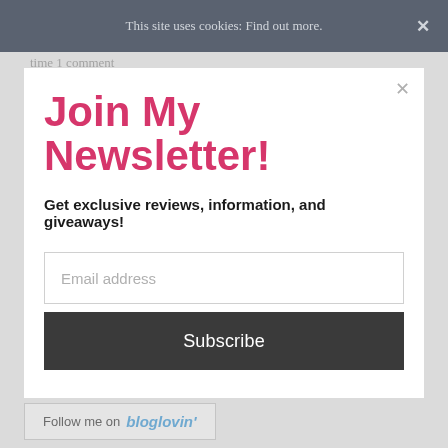This site uses cookies: Find out more. ×
time 1 comment
Join My Newsletter!
Get exclusive reviews, information, and giveaways!
Email address
Subscribe
Follow me on bloglovin'